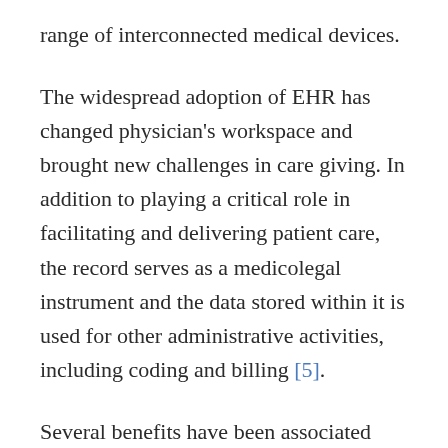range of interconnected medical devices.
The widespread adoption of EHR has changed physician's workspace and brought new challenges in care giving. In addition to playing a critical role in facilitating and delivering patient care, the record serves as a medicolegal instrument and the data stored within it is used for other administrative activities, including coding and billing [5].
Several benefits have been associated with EHR use in clinical practice. Increased adherence to guidelines in preventive care, decreased paperwork for providers, improvement in overall quality, efficiency of patient care, reduction of errors, enhanced monitoring of drug therapy, better daily workflow management, easy